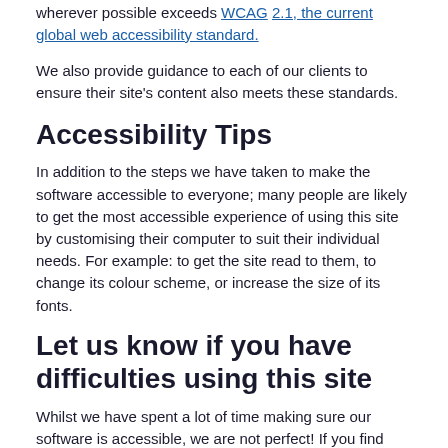wherever possible exceeds WCAG 2.1, the current global web accessibility standard.
We also provide guidance to each of our clients to ensure their site's content also meets these standards.
Accessibility Tips
In addition to the steps we have taken to make the software accessible to everyone; many people are likely to get the most accessible experience of using this site by customising their computer to suit their individual needs. For example: to get the site read to them, to change its colour scheme, or increase the size of its fonts.
Let us know if you have difficulties using this site
Whilst we have spent a lot of time making sure our software is accessible, we are not perfect! If you find anything on the site difficult to use please let us know by emailing support@engagementhq.com